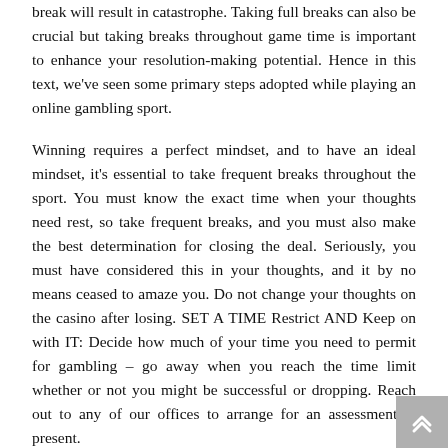break will result in catastrophe. Taking full breaks can also be crucial but taking breaks throughout game time is important to enhance your resolution-making potential. Hence in this text, we've seen some primary steps adopted while playing an online gambling sport.
Winning requires a perfect mindset, and to have an ideal mindset, it's essential to take frequent breaks throughout the sport. You must know the exact time when your thoughts need rest, so take frequent breaks, and you must also make the best determination for closing the deal. Seriously, you must have considered this in your thoughts, and it by no means ceased to amaze you. Do not change your thoughts on the casino after losing. SET A TIME Restrict AND Keep on with IT: Decide how much of your time you need to permit for gambling – go away when you reach the time limit whether or not you might be successful or dropping. Reach out to any of our offices to arrange for an assessment at present.